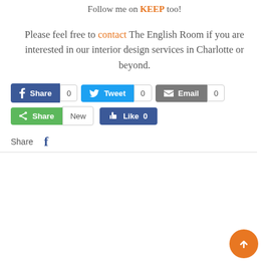Follow me on KEEP too!
Please feel free to contact The English Room if you are interested in our interior design services in Charlotte or beyond.
[Figure (screenshot): Social sharing buttons: Facebook Share (0), Tweet (0), Email (0), Share (New), Like 0]
Share (Facebook icon)